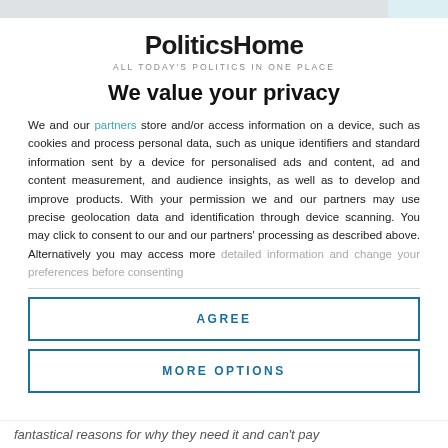[Figure (logo): PoliticsHome logo with tagline 'ALL TODAY'S POLITICS IN ONE PLACE']
We value your privacy
We and our partners store and/or access information on a device, such as cookies and process personal data, such as unique identifiers and standard information sent by a device for personalised ads and content, ad and content measurement, and audience insights, as well as to develop and improve products. With your permission we and our partners may use precise geolocation data and identification through device scanning. You may click to consent to our and our partners' processing as described above. Alternatively you may access more detailed information and change your preferences before consenting
AGREE
MORE OPTIONS
fantastical reasons for why they need it and can't pay